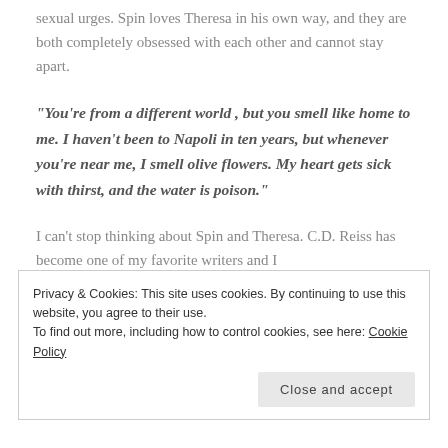sexual urges. Spin loves Theresa in his own way, and they are both completely obsessed with each other and cannot stay apart.
“You’re from a different world , but you smell like home to me. I haven’t been to Napoli in ten years, but whenever you’re near me, I smell olive flowers. My heart gets sick with thirst, and the water is poison.”
I can’t stop thinking about Spin and Theresa. C.D. Reiss has become one of my favorite writers and I
Privacy & Cookies: This site uses cookies. By continuing to use this website, you agree to their use.
To find out more, including how to control cookies, see here: Cookie Policy
Close and accept